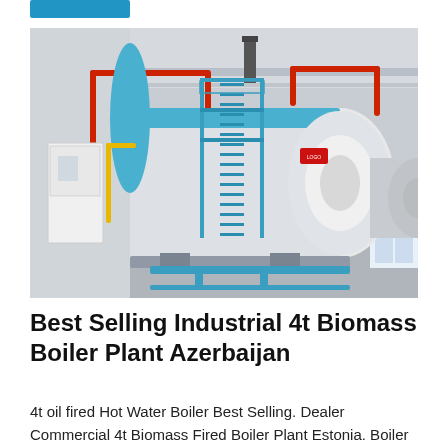[Figure (photo): Industrial boiler plant interior showing large horizontal cylindrical boilers (blue and white) with red and blue piping, scaffolding access ladders, and industrial equipment in a factory setting.]
Best Selling Industrial 4t Biomass Boiler Plant Azerbaijan
4t oil fired Hot Water Boiler Best Selling. Dealer Commercial 4t Biomass Fired Boiler Plant Estonia. Boiler